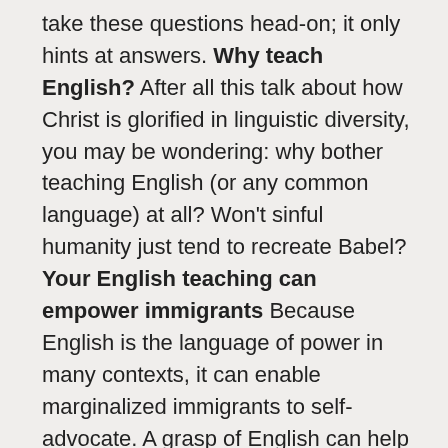take these questions head-on; it only hints at answers. Why teach English? After all this talk about how Christ is glorified in linguistic diversity, you may be wondering: why bother teaching English (or any common language) at all? Won't sinful humanity just tend to recreate Babel? Your English teaching can empower immigrants Because English is the language of power in many contexts, it can enable marginalized immigrants to self-advocate. A grasp of English can help them both to prosper in their work and to protect themselves and their resources from exploitation. English teaching is a practical way that English-speaking Christians can share power with minority-language immigrants. In fact, English teaching in an English-dominant society creates more power. This is how all teaching works. When you teach someone else how to do something (like how to fill out a form), at the end of the lesson, they have gained the power to fill out a